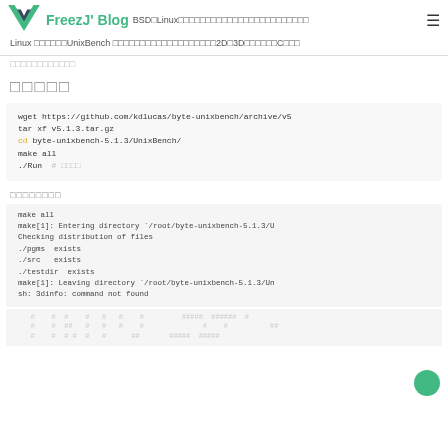UnixBench FreezJ' Blog BSD Linux ... Linux UnixBench ... 2D 3D ... C ...
...............
□□□□□
wget https://github.com/kdlucas/byte-unixbench/archive/v5
tar xf v5.1.3.tar.gz
cd byte-unixbench-5.1.3/UnixBench/
make all
./Run  # □□□□
□□□□□□□□
make all
make[1]: Entering directory `/root/byte-unixbench-5.1.3/U
Checking distribution of files
./pgms  exists
./src   exists
./testdir  exists
make[1]: Leaving directory `/root/byte-unixbench-5.1.3/Un
sh: 3dinfo: command not found
#  #  #  #  #  #  #        #####  ######  #
#  #  ##  #  #  #  #              #    #          ##
#  #  # #  #  #  ##       #####  #####